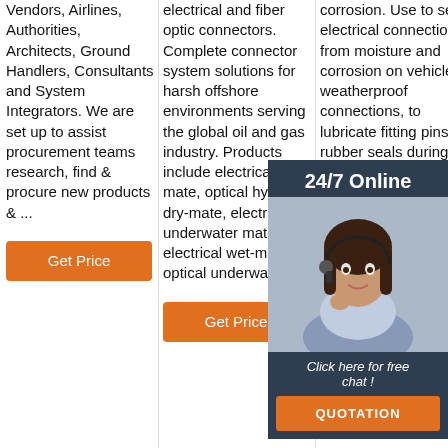Vendors, Airlines, Authorities, Architects, Ground Handlers, Consultants and System Integrators. We are set up to assist procurement teams research, find & procure new products & ...
Get Price
electrical and fiber optic connectors. Complete connector system solutions for harsh offshore environments serving the global oil and gas industry. Products include electrical dry-mate, optical hybrid dry-mate, electrical underwater mateable, electrical wet-mate, optical underwater ...
Get Price
corrosion. Use to seal electrical connections from moisture and corrosion on vehicles, weatherproof connections, to lubricate fitting pins, rubber seals during assembly. Storage & Handling: room temperature. Rotate stock on a 'first-in, first-out' basis.
[Figure (photo): Customer service representative with headset, 24/7 Online overlay box with chat prompt and QUOTATION button]
Get Price